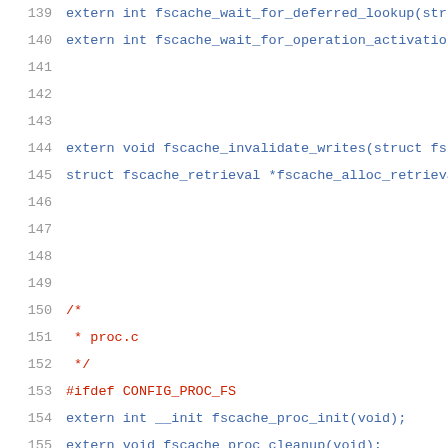139  extern int fscache_wait_for_deferred_lookup(str
140  extern int fscache_wait_for_operation_activatio
141
142
143
144  extern void fscache_invalidate_writes(struct fs
145  struct fscache_retrieval *fscache_alloc_retrieva
146
147
148
149
150  /*
151   * proc.c
152   */
153  #ifdef CONFIG_PROC_FS
154  extern int __init fscache_proc_init(void);
155  extern void fscache_proc_cleanup(void);
156  #else
157  #define fscache_proc_init()      (0)
158  #define fscache_proc_cleanup()   do {} while (0)
159  #endif
160